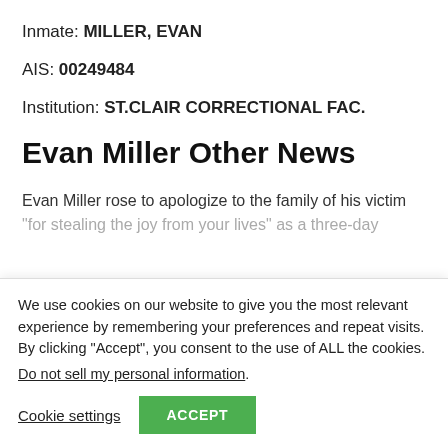Inmate: MILLER, EVAN
AIS: 00249484
Institution: ST.CLAIR CORRECTIONAL FAC.
Evan Miller Other News
Evan Miller rose to apologize to the family of his victim
“for stealing the joy from your lives” as a three-day
We use cookies on our website to give you the most relevant experience by remembering your preferences and repeat visits. By clicking “Accept”, you consent to the use of ALL the cookies.
Do not sell my personal information.
Cookie settings
ACCEPT